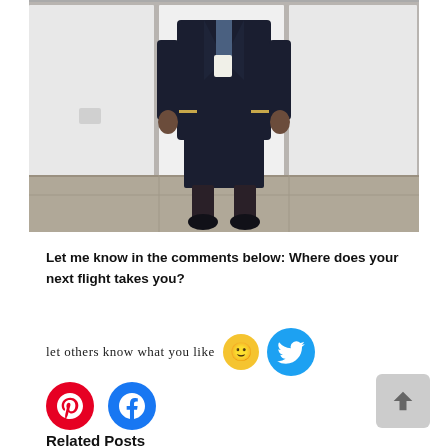[Figure (photo): A person wearing a dark navy airline crew uniform (blazer, skirt, stockings, heels) standing in front of white panels/lockers on a grey floor. The head is cropped out of the frame.]
Let me know in the comments below: Where does your next flight takes you?
Let others know what you like 🙂
Related Posts